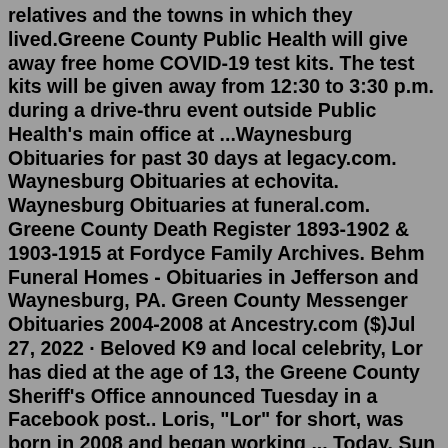relatives and the towns in which they lived.Greene County Public Health will give away free home COVID-19 test kits. The test kits will be given away from 12:30 to 3:30 p.m. during a drive-thru event outside Public Health's main office at ...Waynesburg Obituaries for past 30 days at legacy.com. Waynesburg Obituaries at echovita. Waynesburg Obituaries at funeral.com. Greene County Death Register 1893-1902 & 1903-1915 at Fordyce Family Archives. Behm Funeral Homes - Obituaries in Jefferson and Waynesburg, PA. Green County Messenger Obituaries 2004-2008 at Ancestry.com ($)Jul 27, 2022 · Beloved K9 and local celebrity, Lor has died at the age of 13, the Greene County Sheriff's Office announced Tuesday in a Facebook post.. Loris, "Lor" for short, was born in 2008 and began working ... Today. Sun and clouds mixed. High 86F. Winds SSE at 5 to 10 mph.. ... ALBANY — A Greene County man was sentenced in federal court to probation on Thursday for his role in a tax evasion conspiracy, U.S. Attorney Carla B. Freedman said. ... Obituaries